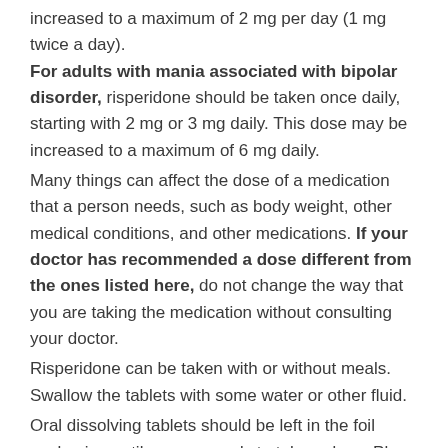increased to a maximum of 2 mg per day (1 mg twice a day). For adults with mania associated with bipolar disorder, risperidone should be taken once daily, starting with 2 mg or 3 mg daily. This dose may be increased to a maximum of 6 mg daily.
Many things can affect the dose of a medication that a person needs, such as body weight, other medical conditions, and other medications. If your doctor has recommended a dose different from the ones listed here, do not change the way that you are taking the medication without consulting your doctor.
Risperidone can be taken with or without meals. Swallow the tablets with some water or other fluid.
Oral dissolving tablets should be left in the foil packaging until you are ready to take a dose. Place the tablet on the tongue, where it will begin to dissolve and can then be swallowed, with water if necessary.
Never replace the tablet until you are about to take it.